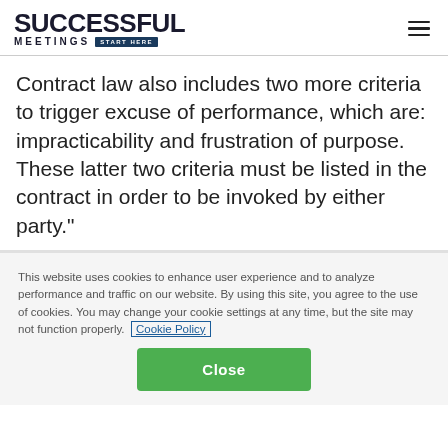SUCCESSFUL MEETINGS START HERE
Contract law also includes two more criteria to trigger excuse of performance, which are: impracticability and frustration of purpose. These latter two criteria must be listed in the contract in order to be invoked by either party."
This website uses cookies to enhance user experience and to analyze performance and traffic on our website. By using this site, you agree to the use of cookies. You may change your cookie settings at any time, but the site may not function properly. Cookie Policy
Close